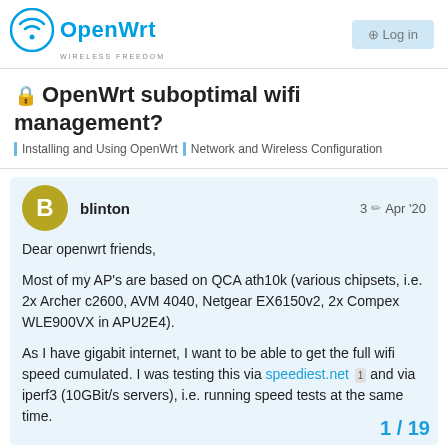OpenWrt — WIRELESS FREEDOM
🔒 OpenWrt suboptimal wifi management?
Installing and Using OpenWrt | Network and Wireless Configuration
blinton   3 ✏ Apr '20
Dear openwrt friends,

Most of my AP's are based on QCA ath10k (various chipsets, i.e. 2x Archer c2600, AVM 4040, Netgear EX6150v2, 2x Compex WLE900VX in APU2E4).

As I have gigabit internet, I want to be able to get the full wifi speed cumulated. I was testing this via speediest.net 1 and via iperf3 (10GBit/s servers), i.e. running speed tests at the same time.
1 / 19